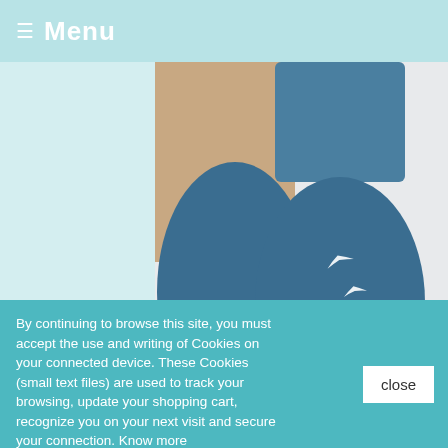≡ Menu
[Figure (photo): Blue angora wool socks by ClimaCare displayed on a mannequin foot/leg, showing white bird patterns on the side of the sock, against a light grey background.]
Add To Cart
Blue angora wool socks by ClimaCare
€23.90
By continuing to browse this site, you must accept the use and writing of Cookies on your connected device. These Cookies (small text files) are used to track your browsing, update your shopping cart, recognize you on your next visit and secure your connection. Know more